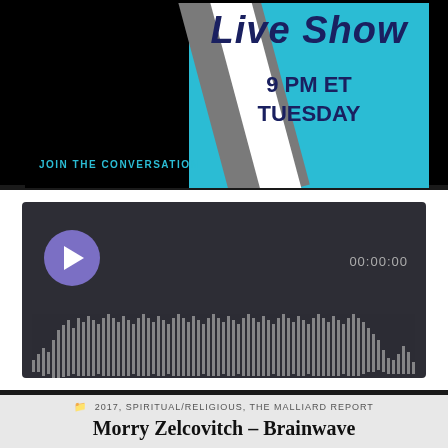[Figure (screenshot): Live Show promotional banner with cyan background, diagonal gray and white stripes, text reading 'Live Show 9 PM ET TUESDAY' in dark navy bold italic, and 'JOIN THE CONVERSATION' in cyan on black left side]
[Figure (screenshot): Audio player widget with dark background, purple circular play button, waveform visualization in white/gray bars, and time display showing 00:00:00]
2017, SPIRITUAL/RELIGIOUS, THE MALLIARD REPORT
Morry Zelcovitch – Brainwave Entrainment Expert